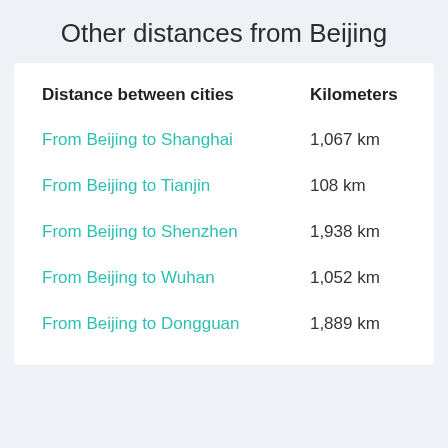Other distances from Beijing
| Distance between cities | Kilometers |
| --- | --- |
| From Beijing to Shanghai | 1,067 km |
| From Beijing to Tianjin | 108 km |
| From Beijing to Shenzhen | 1,938 km |
| From Beijing to Wuhan | 1,052 km |
| From Beijing to Dongguan | 1,889 km |